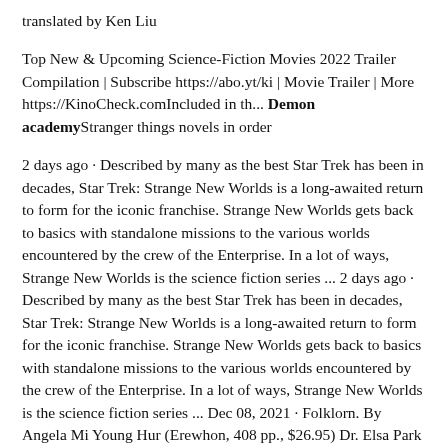translated by Ken Liu
Top New & Upcoming Science-Fiction Movies 2022 Trailer Compilation | Subscribe https://abo.yt/ki | Movie Trailer | More https://KinoCheck.comIncluded in th... Demon academyStranger things novels in order
2 days ago · Described by many as the best Star Trek has been in decades, Star Trek: Strange New Worlds is a long-awaited return to form for the iconic franchise. Strange New Worlds gets back to basics with standalone missions to the various worlds encountered by the crew of the Enterprise. In a lot of ways, Strange New Worlds is the science fiction series ... 2 days ago · Described by many as the best Star Trek has been in decades, Star Trek: Strange New Worlds is a long-awaited return to form for the iconic franchise. Strange New Worlds gets back to basics with standalone missions to the various worlds encountered by the crew of the Enterprise. In a lot of ways, Strange New Worlds is the science fiction series ... Dec 08, 2021 · Folklorn. By Angela Mi Young Hur (Erewhon, 408 pp., $26.95) Dr. Elsa Park spent years being told that the women of her family are trapped in the patterns of tragic Korean folk tales in which girls ... Described by many as the best Star Trek has been in decades, Star Trek: Strange New Worlds is a long-awaited return to form for the iconic franchise. Strange New Worlds gets back to basics with standalone missions to the various